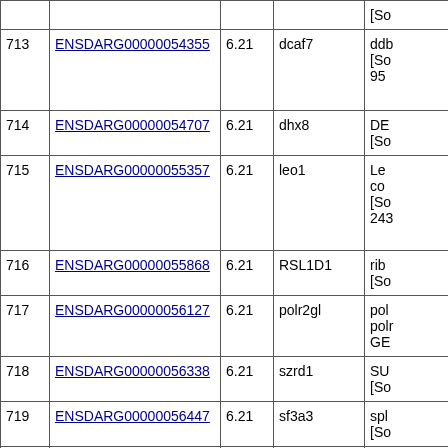| # | Gene ID | Value | Gene | Description |
| --- | --- | --- | --- | --- |
| 713 | ENSDARG00000054355 | 6.21 | dcaf7 | ddb1 and cul4 associated factor 7 [Source:...] 95... |
| 714 | ENSDARG00000054707 | 6.21 | dhx8 | DE... [So... |
| 715 | ENSDARG00000055357 | 6.21 | leo1 | Leo1... co... [So... 243... |
| 716 | ENSDARG00000055868 | 6.21 | RSL1D1 | rib... [So... |
| 717 | ENSDARG00000056127 | 6.21 | polr2gl | pol... polr... GE... |
| 718 | ENSDARG00000056338 | 6.21 | szrd1 | SU... [So... |
| 719 | ENSDARG00000056447 | 6.21 | sf3a3 | spl... [So... |
| 720 | ENSDARG00000056583 | 6.21 | ndufs6 | NA... pro... 040... |
| 721 |  |  |  | sur... |